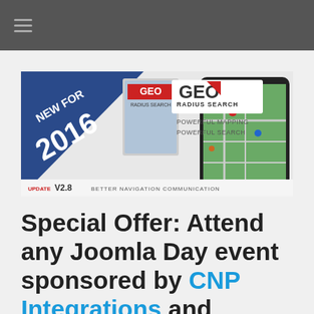≡
[Figure (illustration): GEO Radius Search promotional banner for 2016. Shows 'NEW FOR 2016' in blue triangle on left, GEO logo with red arrow, 'RADIUS SEARCH' text, 'POWERFUL MAPPING POWERFUL SEARCH' tagline, a tablet/map graphic, and 'UPDATE V2.8 BETTER NAVIGATION COMMUNICATION' at bottom.]
Special Offer: Attend any Joomla Day event sponsored by CNP Integrations and recieve a 25% discount on any membership for GEO